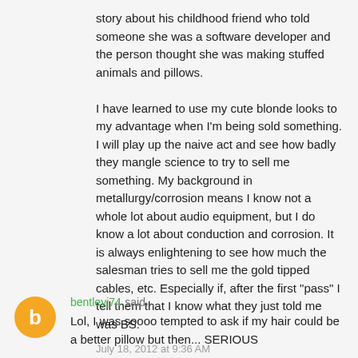story about his childhood friend who told someone she was a software developer and the person thought she was making stuffed animals and pillows.

I have learned to use my cute blonde looks to my advantage when I'm being sold something. I will play up the naive act and see how badly they mangle science to try to sell me something. My background in metallurgy/corrosion means I know not a whole lot about audio equipment, but I do know a lot about conduction and corrosion. It is always enlightening to see how much the salesman tries to sell me the gold tipped cables, etc. Especially if, after the first "pass" I tell them that I know what they just told me was BS.
July 18, 2012 at 9:36 AM
bentleyj74 said...
Lol, I was soooo tempted to ask if my hair could be a better pillow but then... SERIOUS